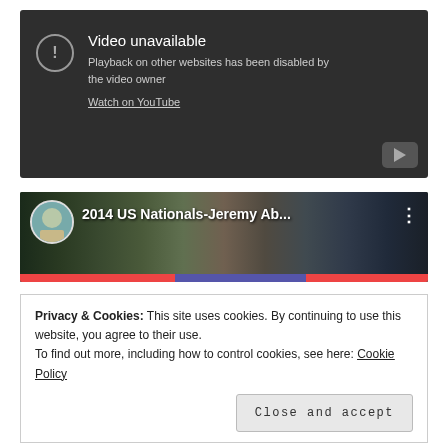[Figure (screenshot): YouTube embedded video player showing 'Video unavailable' error message. A warning icon (circle with exclamation mark) is shown on the left. Text reads: 'Video unavailable', 'Playback on other websites has been disabled by the video owner', and a link 'Watch on YouTube'. A YouTube logo button appears in the bottom-right corner.]
[Figure (screenshot): YouTube video thumbnail for '2014 US Nationals-Jeremy Ab...' showing a crowd in an arena. A circular avatar is shown on the left, a three-dot menu icon on the right, and a colored progress/control bar at the bottom.]
Privacy & Cookies: This site uses cookies. By continuing to use this website, you agree to their use.
To find out more, including how to control cookies, see here: Cookie Policy
Close and accept